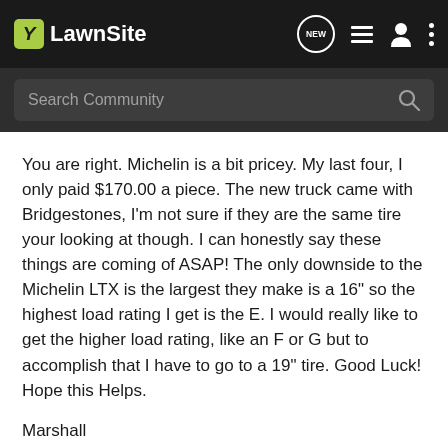LawnSite
You are right. Michelin is a bit pricey. My last four, I only paid $170.00 a piece. The new truck came with Bridgestones, I'm not sure if they are the same tire your looking at though. I can honestly say these things are coming of ASAP! The only downside to the Michelin LTX is the largest they make is a 16" so the highest load rating I get is the E. I would really like to get the higher load rating, like an F or G but to accomplish that I have to go to a 19" tire. Good Luck! Hope this Helps.
Marshall
It's all about the lines and edging.